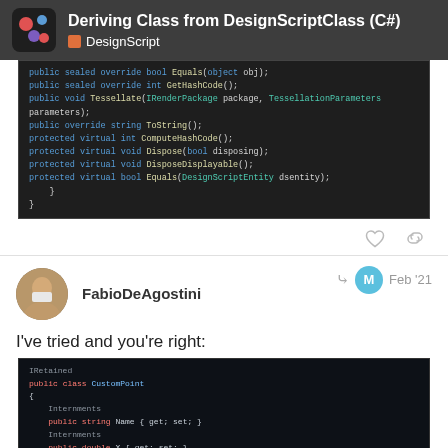Deriving Class from DesignScriptClass (C#) — DesignScript
[Figure (screenshot): Code editor screenshot showing C# class members: public sealed override bool Equals(object obj), public sealed override int GetHashCode(), public void Tessellate(IRenderPackage package, TessellationParameters parameters), public override string ToString(), protected virtual int ComputeHashCode(), protected virtual void Dispose(bool disposing), protected virtual void DisposeDisplayable(), protected virtual bool Equals(DesignScriptEntity dsentity)]
I've tried and you're right:
[Figure (screenshot): Code editor screenshot showing C# class definition: public class CustomPoint with fields Name, X, Y, Z, Point Pt (each with get/set), internments comments, and a default constructor comment (not shown as node), private CustomPoint()]